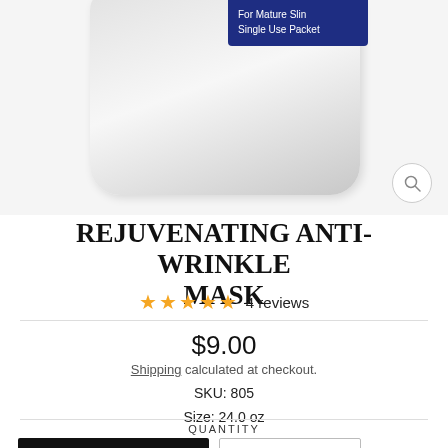[Figure (photo): Product image of a white packet with a dark blue label reading 'For Mature Skin Single Use Packet'. A magnifying glass icon appears in the bottom right corner of the image area.]
REJUVENATING ANTI-WRINKLE MASK
★★★★★ 4 reviews
$9.00
Shipping calculated at checkout.
SKU: 805
Size: 24.0 oz
QUANTITY
Earn Rewards
− 1 +